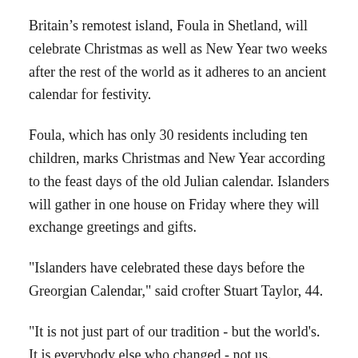Britain’s remotest island, Foula in Shetland, will celebrate Christmas as well as New Year two weeks after the rest of the world as it adheres to an ancient calendar for festivity.
Foula, which has only 30 residents including ten children, marks Christmas and New Year according to the feast days of the old Julian calendar. Islanders will gather in one house on Friday where they will exchange greetings and gifts.
"Islanders have celebrated these days before the Greorgian Calendar," said crofter Stuart Taylor, 44.
"It is not just part of our tradition - but the world's. It is everybody else who changed - not us.
"We are not unique - other parts of the world, such as areas of Russia, still celebrate the old calendar.